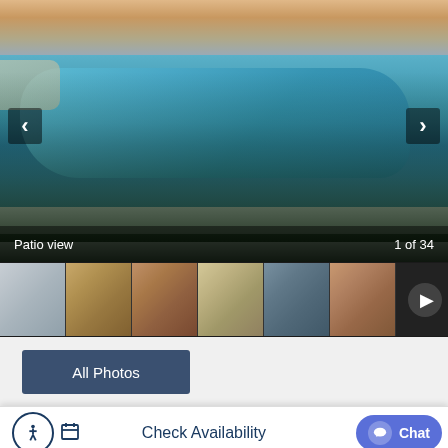[Figure (photo): Main image showing a resort pool area with palm trees in the foreground, lounge chairs, and a sunset sky in the background. Navigation arrows on left and right. Caption bar at bottom reads 'Patio view' and '1 of 34'.]
[Figure (photo): Thumbnail strip showing 6 small property photos and a play button for video]
All Photos
Instant Quote
Check Availability
Chat